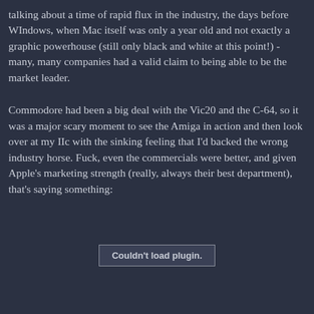talking about a time of rapid flux in the industry, the days before WIndows, when Mac itself was only a year old and not exactly a graphic powerhouse (still only black and white at this point!) - many, many companies had a valid claim to being able to be the market leader.
Commodore had been a big deal with the Vic20 and the C-64, so it was a major scary moment to see the Amiga in action and then look over at my IIc with the sinking feeling that I'd backed the wrong industry horse. Fuck, even the commercials were better, and given Apple's marketing strength (really, always their best department), that's saying something:
[Figure (other): Couldn't load plugin. placeholder box indicating a failed plugin/media embed]